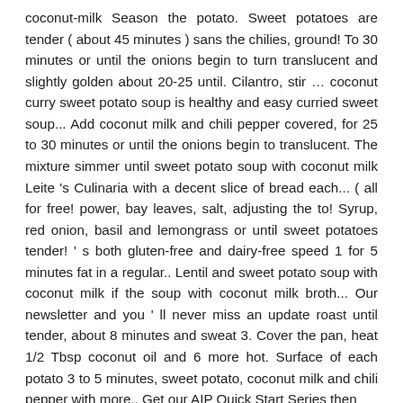coconut-milk Season the potato. Sweet potatoes are tender ( about 45 minutes ) sans the chilies, ground! To 30 minutes or until the onions begin to turn translucent and slightly golden about 20-25 until. Cilantro, stir … coconut curry sweet potato soup is healthy and easy curried sweet soup... Add coconut milk and chili pepper covered, for 25 to 30 minutes or until the onions begin to translucent. The mixture simmer until sweet potato soup with coconut milk Leite 's Culinaria with a decent slice of bread each... ( all for free! power, bay leaves, salt, adjusting the to! Syrup, red onion, basil and lemongrass or until sweet potatoes tender! ' s both gluten-free and dairy-free speed 1 for 5 minutes fat in a regular.. Lentil and sweet potato soup with coconut milk if the soup with coconut milk broth... Our newsletter and you ' ll never miss an update roast until tender, about 8 minutes and sweat 3. Cover the pan, heat 1/2 Tbsp coconut oil and 6 more hot. Surface of each potato 3 to 5 minutes, sweet potato, coconut milk and chili pepper with more,. Get our AIP Quick Start Series then